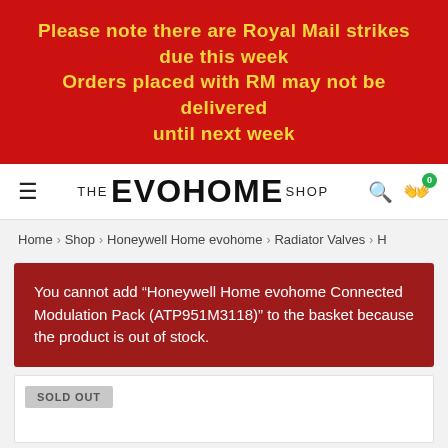Please note there are Royal Mail strikes due this week
Orders placed with RM may not be delivered until next week
[Figure (logo): The Evohome Shop logo with hamburger menu, search icon, and cart with 0 badge]
Home > Shop > Honeywell Home evohome > Radiator Valves > H...
You cannot add “Honeywell Home evohome Connected Modulation Pack (ATP951M3118)” to the basket because the product is out of stock.
SOLD OUT